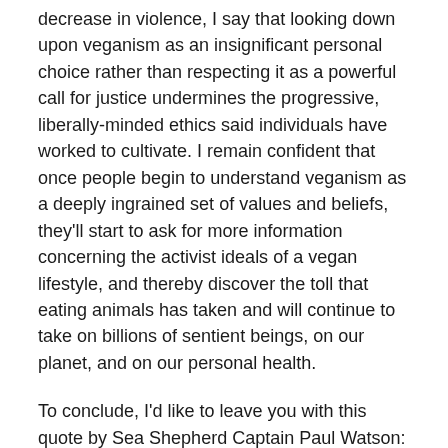decrease in violence, I say that looking down upon veganism as an insignificant personal choice rather than respecting it as a powerful call for justice undermines the progressive, liberally-minded ethics said individuals have worked to cultivate. I remain confident that once people begin to understand veganism as a deeply ingrained set of values and beliefs, they'll start to ask for more information concerning the activist ideals of a vegan lifestyle, and thereby discover the toll that eating animals has taken and will continue to take on billions of sentient beings, on our planet, and on our personal health.
To conclude, I'd like to leave you with this quote by Sea Shepherd Captain Paul Watson: “If you want to know where you would have stood on slavery before the Civil War, don't look at where you stand on slavery today. Look at where you stand on animal rights.”